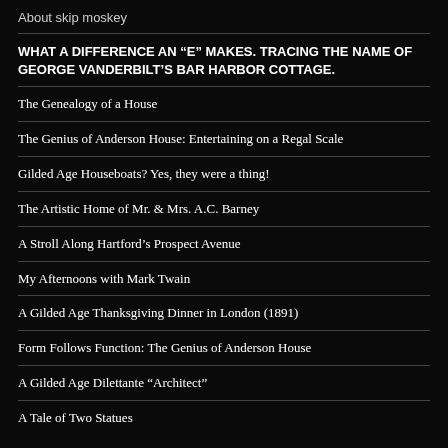About skip moskey
WHAT A DIFFERENCE AN “E” MAKES. TRACING THE NAME OF GEORGE VANDERBILT’S BAR HARBOR COTTAGE.
The Genealogy of a House
The Genius of Anderson House: Entertaining on a Regal Scale
Gilded Age Houseboats? Yes, they were a thing!
The Artistic Home of Mr. & Mrs. A.C. Barney
A Stroll Along Hartford’s Prospect Avenue
My Afternoons with Mark Twain
A Gilded Age Thanksgiving Dinner in London (1891)
Form Follows Function: The Genius of Anderson House
A Gilded Age Dilettante “Architect”
A Tale of Two Statues